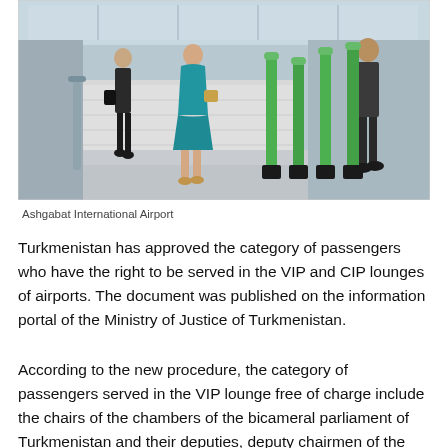[Figure (photo): People walking through Ashgabat International Airport terminal with green luggage trolley poles visible]
Ashgabat International Airport
Turkmenistan has approved the category of passengers who have the right to be served in the VIP and CIP lounges of airports. The document was published on the information portal of the Ministry of Justice of Turkmenistan.
According to the new procedure, the category of passengers served in the VIP lounge free of charge include the chairs of the chambers of the bicameral parliament of Turkmenistan and their deputies, deputy chairmen of the Cabinet of Ministers of Turkmenistan, advisers to the President of Turkmenistan, heads of